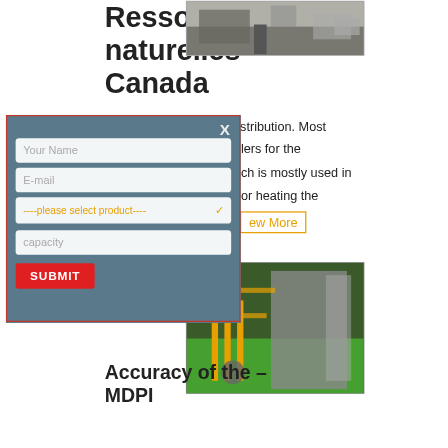Ressources naturelles Canada
[Figure (photo): Outdoor industrial facility entrance with truck and gate, Chinese signage visible]
H: Boilers and Steam Distribution. Most lers for the ch is mostly used in or heating the
ew More
[Figure (photo): Industrial equipment interior with yellow pipes and green floor]
nce and Production
Accuracy of the – MDPI
[Figure (screenshot): Modal dialog overlay with form fields: Your Name, E-mail, product selector, capacity, and SUBMIT button]